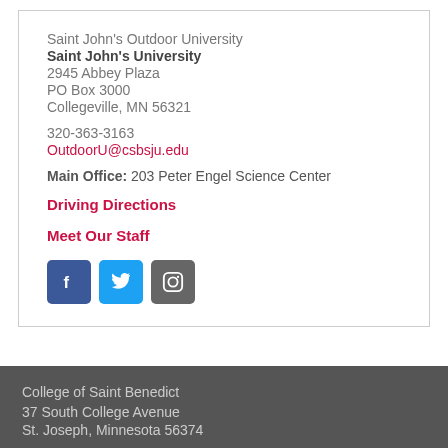Saint John's Outdoor University
Saint John's University
2945 Abbey Plaza
PO Box 3000
Collegeville, MN 56321
320-363-3163
OutdoorU@csbsju.edu
Main Office: 203 Peter Engel Science Center
Driving Directions
Meet Our Staff
[Figure (logo): Social media icons: Facebook, Twitter, Instagram]
College of Saint Benedict
37 South College Avenue
St. Joseph, Minnesota 56374